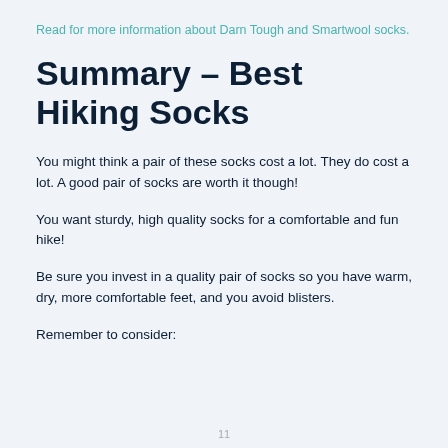Read for more information about Darn Tough and Smartwool socks.
Summary – Best Hiking Socks
You might think a pair of these socks cost a lot. They do cost a lot. A good pair of socks are worth it though!
You want sturdy, high quality socks for a comfortable and fun hike!
Be sure you invest in a quality pair of socks so you have warm, dry, more comfortable feet, and you avoid blisters.
Remember to consider: